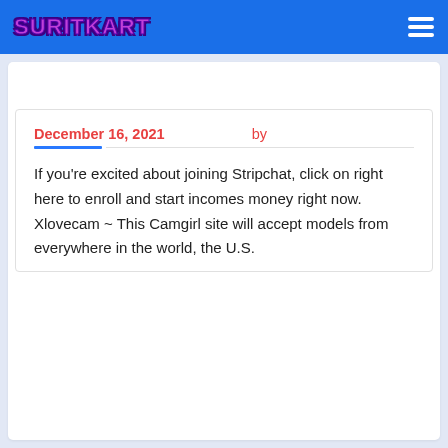SURITKART
December 16, 2021  by
If you're excited about joining Stripchat, click on right here to enroll and start incomes money right now. Xlovecam ~ This Camgirl site will accept models from everywhere in the world, the U.S.